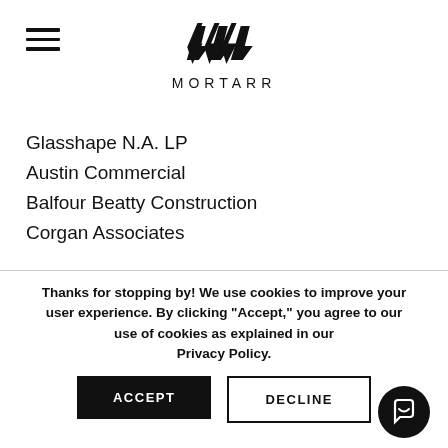[Figure (logo): Mortarr logo with three angular chevron marks above the text MORTARR in spaced sans-serif capitals]
Glasshape N.A. LP
Austin Commercial
Balfour Beatty Construction
Corgan Associates
Thanks for stopping by! We use cookies to improve your user experience. By clicking "Accept," you agree to our use of cookies as explained in our Privacy Policy.
ACCEPT
DECLINE